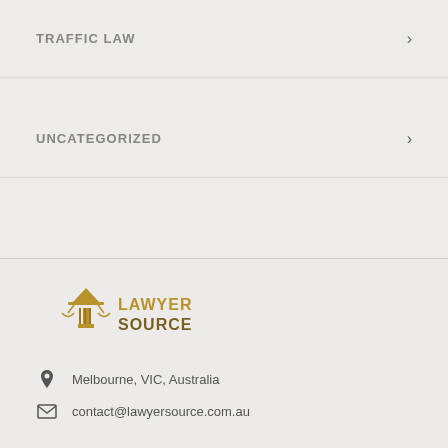TRAFFIC LAW
UNCATEGORIZED
[Figure (logo): Lawyer Source logo with scales of justice icon and text LAWYER SOURCE in gold/brown]
Melbourne, VIC, Australia
contact@lawyersource.com.au